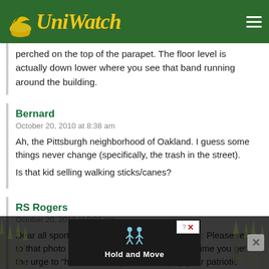Uni Watch
perched on the top of the parapet. The floor level is actually down lower where you see that band running around the building.
Bernard
October 20, 2010 at 8:38 am
Ah, the Pittsburgh neighborhood of Oakland. I guess some things never change (specifically, the trash in the street).
Is that kid selling walking sticks/canes?
RS Rogers
October 20, 2010 at 9:01 am
Dear all sports teams and leagues everywhere: Please refer to that photo of Forbes Field in 1912 the next time you get the urge to “honor the troops” or to display your patriotic spirit or pride in country of any sort. Note the abse... of flags on a... h of the